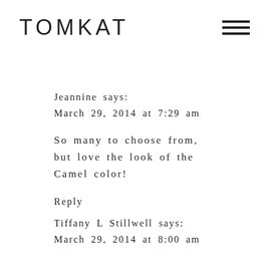TOMKAT
Jeannine says:
March 29, 2014 at 7:29 am
So many to choose from, but love the look of the Camel color!
Reply
Tiffany L Stillwell says:
March 29, 2014 at 8:00 am